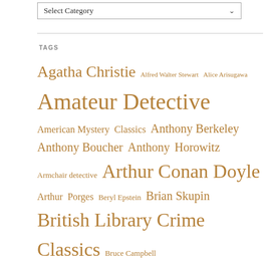[Figure (screenshot): A dropdown select box labeled 'Select Category' with a chevron arrow on the right]
TAGS
Agatha Christie Alfred Walter Stewart Alice Arisugawa Amateur Detective American Mystery Classics Anthony Berkeley Anthony Boucher Anthony Horowitz Armchair detective Arthur Conan Doyle Arthur Porges Beryl Epstein Brian Skupin British Library Crime Classics Bruce Campbell Carter Dickson Christianna Brand Clayton Rawson Coachwhip Publications Constance and Gwenyth Little Cornell Woolrich Crime-solving couples Crippen & Landru Crossover Mysteries Dashiell Hammett Dean Street Press Dorothy L S...